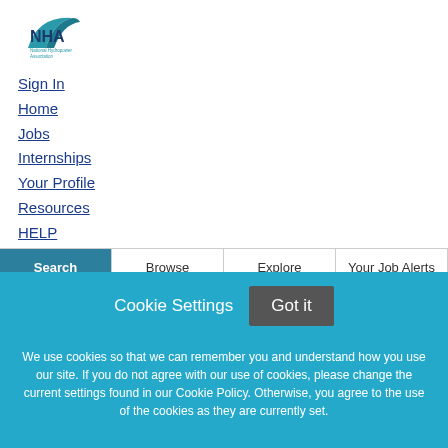[Figure (logo): NHA National Hydropower Association logo with teal swoosh and text]
Sign In
Home
Jobs
Internships
Your Profile
Resources
HELP
Employers Post Jobs
Search | Browse | Explore | Your Job Alerts
Cookie Settings  Got it

We use cookies so that we can remember you and understand how you use our site. If you do not agree with our use of cookies, please change the current settings found in our Cookie Policy. Otherwise, you agree to the use of the cookies as they are currently set.